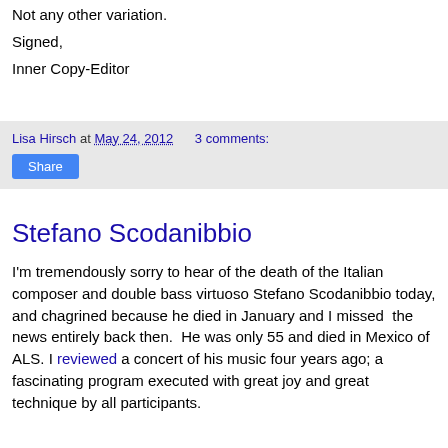Not any other variation.
Signed,
Inner Copy-Editor
Lisa Hirsch at May 24, 2012   3 comments:
Share
Stefano Scodanibbio
I'm tremendously sorry to hear of the death of the Italian composer and double bass virtuoso Stefano Scodanibbio today, and chagrined because he died in January and I missed  the news entirely back then.  He was only 55 and died in Mexico of ALS. I reviewed a concert of his music four years ago; a fascinating program executed with great joy and great technique by all participants.